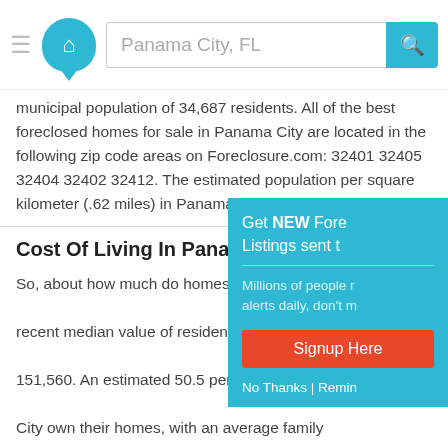Panama City, FL — Foreclosure.com search bar header
municipal population of 34,687 residents. All of the best foreclosed homes for sale in Panama City are located in the following zip code areas on Foreclosure.com: 32401 32405 32404 32402 32412. The estimated population per square kilometer (.62 miles) in Panama City is 382.
Cost Of Living In Panama City, FL
So, about how much do homes cost in Panama City? The most recent median value of resident-owned homes in Panama City is 151,560. An estimated 50.5 percent of households in Panama City own their homes, with an average family size of 3.0. The median household income in Panama City is with the percentage of households earning at least $100,000 is. For working parents and professionals who are searching for cheap homes in Panama City, the median commute time of resident workers (in minutes) is 20.3. And last, but certainly not least, are you looking for homes to rent in Panama City? If so, the average rent price paid by renters in Panama City is 945,
Get NEW Fore Listings sent t
Millions of people r alerts daily, don't m
Signup Here
No Thanks | Remin